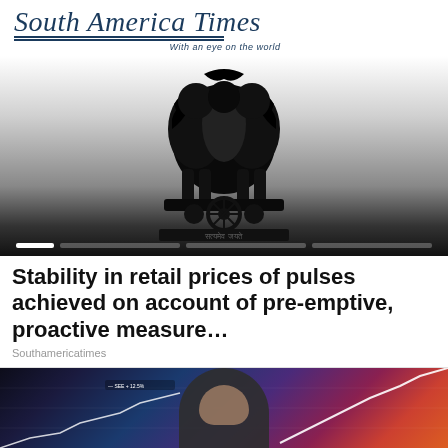South America Times — With an eye on the world
[Figure (photo): India's national emblem (Ashoka Chakra / Lion Capital of Ashoka) rendered in black ink on a gradient background fading from white to dark grey/black, with a slider indicator bar at the bottom.]
Stability in retail prices of pulses achieved on account of pre-emptive, proactive measure…
Southamericatimes
[Figure (photo): A man in business attire overlaid on a financial chart background showing rising line charts in blue, purple, pink and orange tones with grid lines and financial indicators.]